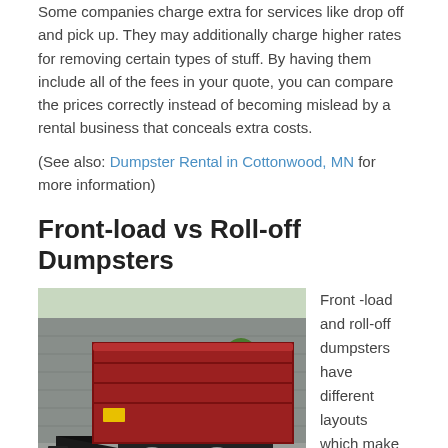Some companies charge extra for services like drop off and pick up. They may additionally charge higher rates for removing certain types of stuff. By having them include all of the fees in your quote, you can compare the prices correctly instead of becoming mislead by a rental business that conceals extra costs.
(See also: Dumpster Rental in Cottonwood, MN for more information)
Front-load vs Roll-off Dumpsters
[Figure (photo): A red roll-off dumpster on a trailer with dual axle wheels, parked near a building with trees in background.]
Front -load and roll-off dumpsters have different layouts which make them useful in different manners. Knowing more about them will allow you to select an option that